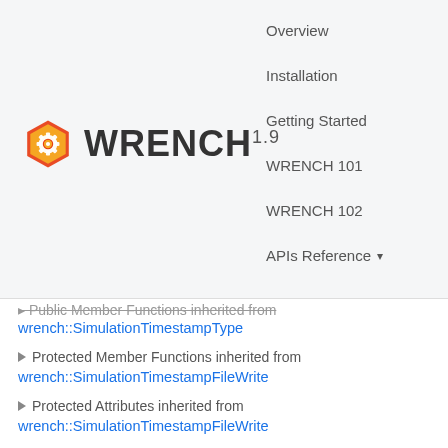[Figure (logo): WRENCH logo: hexagonal gear icon in red/orange/yellow with WRENCH 1.9 text]
Overview
Installation
Getting Started
WRENCH 101
WRENCH 102
APIs Reference ▾
▸ Public Member Functions inherited from
wrench::SimulationTimestampType
▸ Protected Member Functions inherited from
wrench::SimulationTimestampFileWrite
▸ Protected Attributes inherited from
wrench::SimulationTimestampFileWrite
▸ Protected Attributes inherited from
wrench::SimulationTimestampPair
▸ Static Protected Attributes inherited from